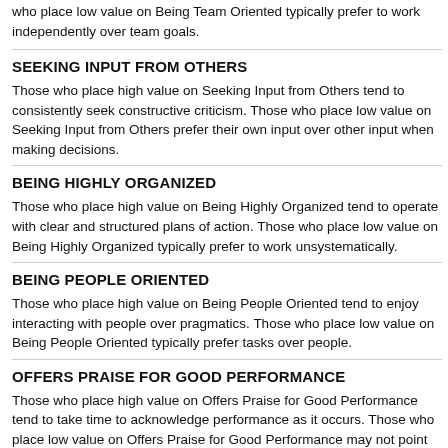who place low value on Being Team Oriented typically prefer to work independently over team goals.
SEEKING INPUT FROM OTHERS
Those who place high value on Seeking Input from Others tend to consistently seek constructive criticism. Those who place low value on Seeking Input from Others prefer their own input over other input when making decisions.
BEING HIGHLY ORGANIZED
Those who place high value on Being Highly Organized tend to operate with clear and structured plans of action. Those who place low value on Being Highly Organized typically prefer to work unsystematically.
BEING PEOPLE ORIENTED
Those who place high value on Being People Oriented tend to enjoy interacting with people over pragmatics. Those who place low value on Being People Oriented typically prefer tasks over people.
OFFERS PRAISE FOR GOOD PERFORMANCE
Those who place high value on Offers Praise for Good Performance tend to take time to acknowledge performance as it occurs. Those who place low value on Offers Praise for Good Performance may not point out good performance, because it is assumed.